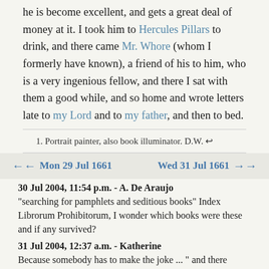he is become excellent, and gets a great deal of money at it. I took him to Hercules Pillars to drink, and there came Mr. Whore (whom I formerly have known), a friend of his to him, who is a very ingenious fellow, and there I sat with them a good while, and so home and wrote letters late to my Lord and to my father, and then to bed.
1. Portrait painter, also book illuminator. D.W. ↩
Mon 29 Jul 1661   Wed 31 Jul 1661
30 Jul 2004, 11:54 p.m. - A. De Araujo
"searching for pamphlets and seditious books" Index Librorum Prohibitorum, I wonder which books were these and if any survived?
31 Jul 2004, 12:37 a.m. - Katherine
Because somebody has to make the joke ... " and there